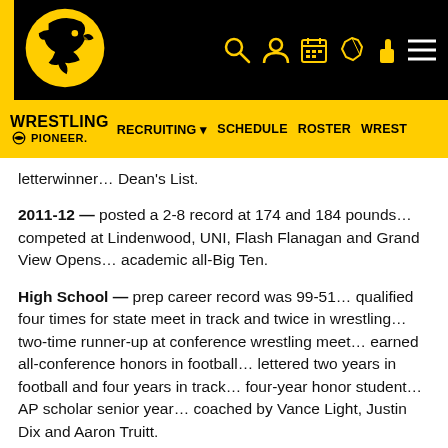Iowa Hawkeyes Wrestling - Header navigation bar with logo, search, account, calendar, ticket, and menu icons
WRESTLING PIONEER | RECRUITING ▼ | SCHEDULE | ROSTER | WREST
letterwinner... Dean's List.
2011-12 — posted a 2-8 record at 174 and 184 pounds... competed at Lindenwood, UNI, Flash Flanagan and Grand View Opens... academic all-Big Ten.
High School — prep career record was 99-51... qualified four times for state meet in track and twice in wrestling... two-time runner-up at conference wrestling meet... earned all-conference honors in football... lettered two years in football and four years in track... four-year honor student... AP scholar senior year... coached by Vance Light, Justin Dix and Aaron Truitt.